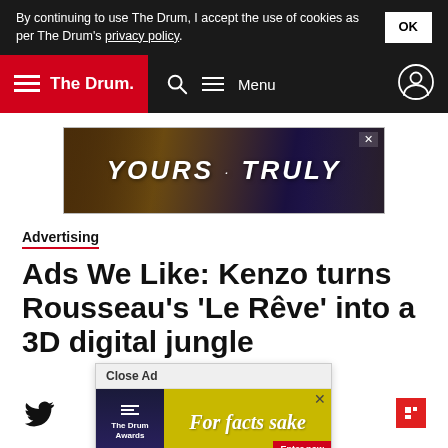By continuing to use The Drum, I accept the use of cookies as per The Drum's privacy policy. OK
The Drum — Search Menu
[Figure (screenshot): Advertisement banner showing two people with text 'YOURS TRULY' on a dark background]
Advertising
Ads We Like: Kenzo turns Rousseau's ‘Le Rêve’ into a 3D digital jungle
[Figure (screenshot): Close Ad overlay showing The Drum Awards advertisement with 'For facts sake' text and 'Enter now' button, alongside Twitter and Flipboard social icons]